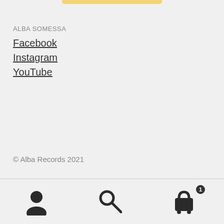ALBA SOMESSA
Facebook
Instagram
YouTube
© Alba Records 2021
[Figure (screenshot): Bottom navigation bar with user/account icon, search icon, and shopping cart icon with badge showing 1 item]